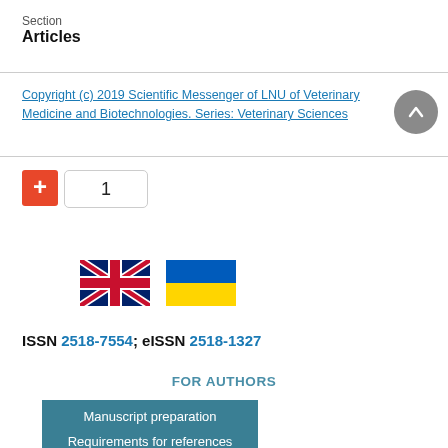Section
Articles
Copyright (c) 2019 Scientific Messenger of LNU of Veterinary Medicine and Biotechnologies. Series: Veterinary Sciences
1
[Figure (illustration): UK flag and Ukraine flag emoji icons side by side]
ISSN 2518-7554; eISSN 2518-1327
FOR AUTHORS
Manuscript preparation
Requirements for references